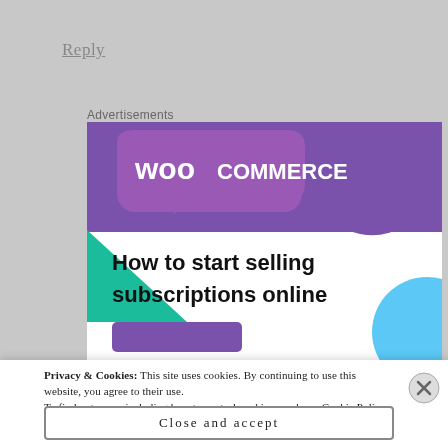Reply
Advertisements
[Figure (screenshot): WooCommerce advertisement banner showing 'How to start selling subscriptions online' with purple WooCommerce logo, teal triangle shape, and blue circle shape on white background]
Privacy & Cookies: This site uses cookies. By continuing to use this website, you agree to their use. To find out more, including how to control cookies, see here: Cookie Policy
Close and accept